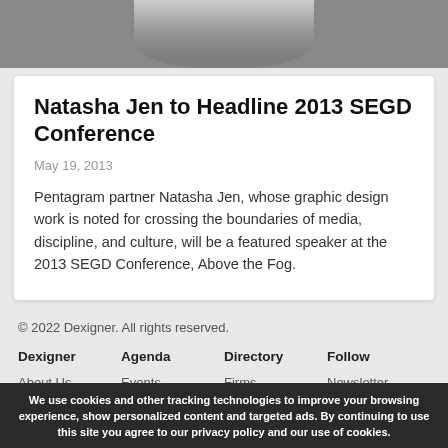[Figure (photo): Black and white partial photo of a woman's face, cropped to show lower portion]
Natasha Jen to Headline 2013 SEGD Conference
May 19, 2013
Pentagram partner Natasha Jen, whose graphic design work is noted for crossing the boundaries of media, discipline, and culture, will be a featured speaker at the 2013 SEGD Conference, Above the Fog.
© 2022 Dexigner. All rights reserved.
Dexigner
About Us
Advertise
Submit News
Agenda
Events
Competitions
Directory
Firms
Designers
Books
Follow
Newsletter
Feed
We use cookies and other tracking technologies to improve your browsing experience, show personalized content and targeted ads. By continuing to use this site you agree to our privacy policy and our use of cookies.